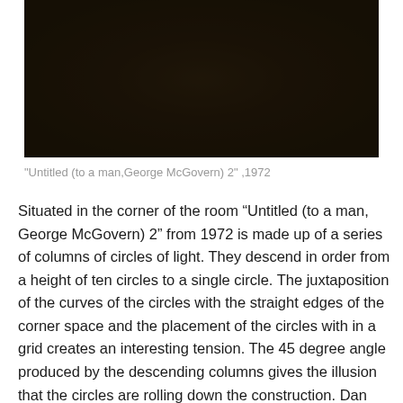[Figure (photo): Dark, nearly black photograph showing a dimly lit room corner, likely displaying a light art installation. The image is very dark with minimal visible detail.]
"Untitled (to a man,George McGovern) 2" ,1972
Situated in the corner of the room “Untitled (to a man, George McGovern) 2” from 1972 is made up of a series of columns of circles of light. They descend in order from a height of ten circles to a single circle. The juxtaposition of the curves of the circles with the straight edges of the corner space and the placement of the circles with in a grid creates an interesting tension. The 45 degree angle produced by the descending columns gives the illusion that the circles are rolling down the construction. Dan Flavin is known as a minimalist and this work uses only